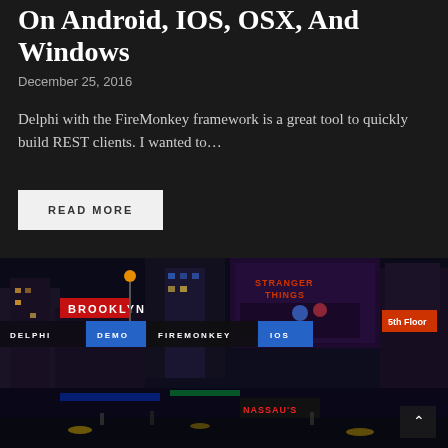On Android, IOS, OSX, And Windows
December 25, 2016
Delphi with the FireMonkey framework is a great tool to quickly build REST clients. I wanted to…
READ MORE
[Figure (photo): Nighttime city street scene (Times Square style) with bright neon signs including Stranger Things billboard, Brooklyn signage, and colorful advertisements. Tag labels: DELPHI, DEMO, FIREMONKEY, IOS overlaid on the image.]